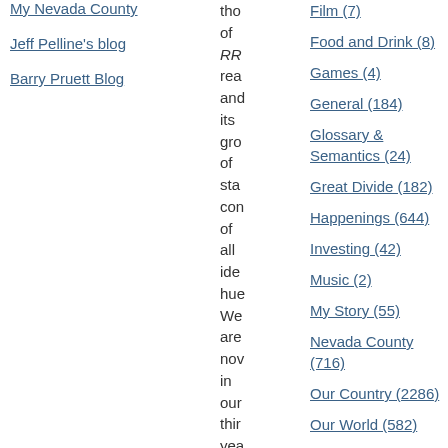My Nevada County
Jeff Pelline's blog
Barry Pruett Blog
tho of RR rea and its gro of sta con of all ide hue We are nov in our thir yea and to
Film (7)
Food and Drink (8)
Games (4)
General (184)
Glossary & Semantics (24)
Great Divide (182)
Happenings (644)
Investing (42)
Music (2)
My Story (55)
Nevada County (716)
Our Country (2286)
Our World (582)
Rebane Doctrine (97)
Religion (38)
Science (31)
Science Snippets (158)
Singularity Signposts (131)